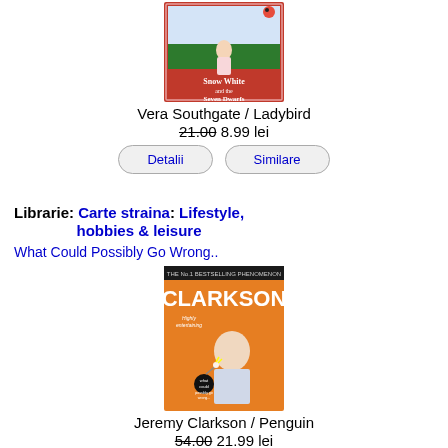[Figure (photo): Book cover: Snow White and the Seven Dwarfs]
Vera Southgate / Ladybird
21.00 8.99 lei
Detalii   Similare
Librarie: Carte straina: Lifestyle, hobbies & leisure
What Could Possibly Go Wrong..
[Figure (photo): Book cover: Clarkson - What Could Possibly Go Wrong]
Jeremy Clarkson / Penguin
54.00 21.99 lei
Detalii   Similare